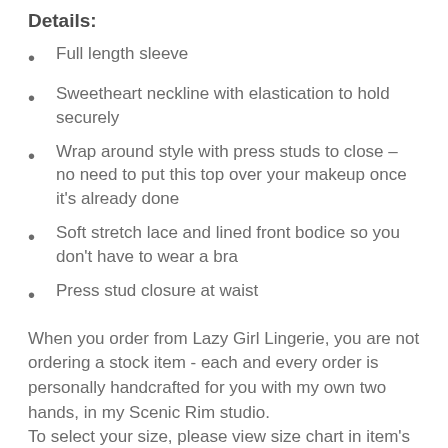Details:
Full length sleeve
Sweetheart neckline with elastication to hold securely
Wrap around style with press studs to close – no need to put this top over your makeup once it's already done
Soft stretch lace and lined front bodice so you don't have to wear a bra
Press stud closure at waist
When you order from Lazy Girl Lingerie, you are not ordering a stock item - each and every order is personally handcrafted for you with my own two hands, in my Scenic Rim studio.
To select your size, please view size chart in item's photos. Feel free to include your bust, under bust, waist and hip measurements and your bra size so